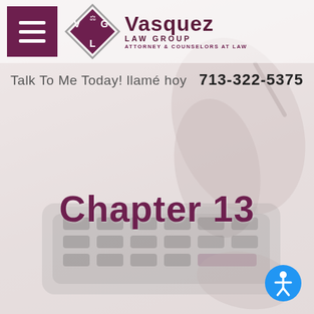[Figure (logo): Vasquez Law Group logo with diamond shape containing V, G, L letters and scales of justice icon, alongside text 'Vasquez LAW GROUP ATTORNEY & COUNSELORS AT LAW']
[Figure (photo): Background photo of hands using a calculator with a pen, faded/washed out as page background]
Talk To Me Today! llamé hoy   713-322-5375
Chapter 13
[Figure (illustration): Blue circular accessibility icon with person silhouette in bottom right corner]